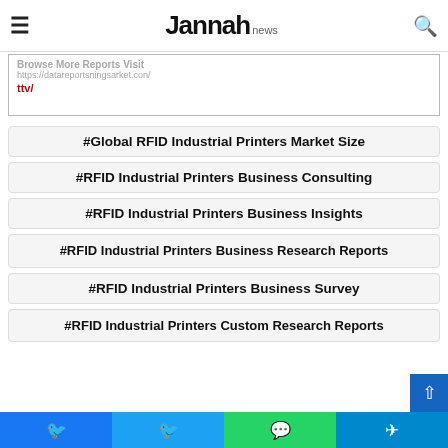Jannah news — navigation bar with hamburger menu and search icon
Browse More Reports Visit
https://datareportsningsarket.con/
ttv/
#Global RFID Industrial Printers Market Size
#RFID Industrial Printers Business Consulting
#RFID Industrial Printers Business Insights
#RFID Industrial Printers Business Research Reports
#RFID Industrial Printers Business Survey
#RFID Industrial Printers Custom Research Reports
Social share buttons: Facebook, Twitter, WhatsApp, Telegram